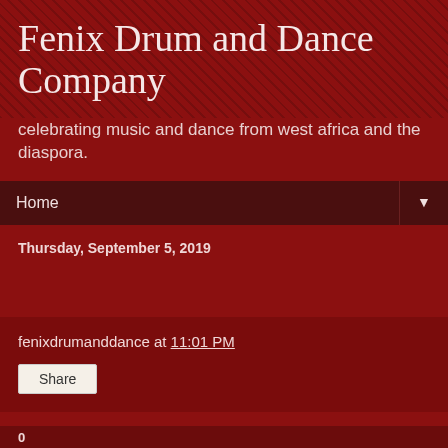Fenix Drum and Dance Company
celebrating music and dance from west africa and the diaspora.
Home
Thursday, September 5, 2019
fenixdrumanddance at 11:01 PM
Share